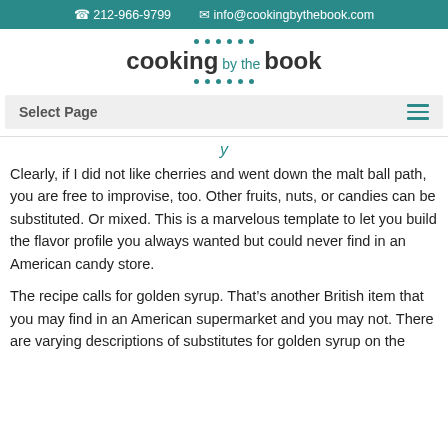📞 212-966-9799  ✉ info@cookingbythebook.com
[Figure (logo): Cooking by the Book logo with teal dots above and below the text]
Select Page
Clearly, if I did not like cherries and went down the malt ball path, you are free to improvise, too. Other fruits, nuts, or candies can be substituted. Or mixed. This is a marvelous template to let you build the flavor profile you always wanted but could never find in an American candy store.
The recipe calls for golden syrup. That's another British item that you may find in an American supermarket and you may not. There are varying descriptions of substitutes for golden syrup on the